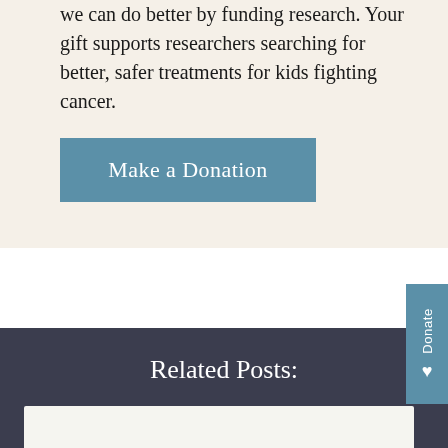we can do better by funding research. Your gift supports researchers searching for better, safer treatments for kids fighting cancer.
[Figure (other): Teal/blue rectangular button labeled 'Make a Donation']
Related Posts: